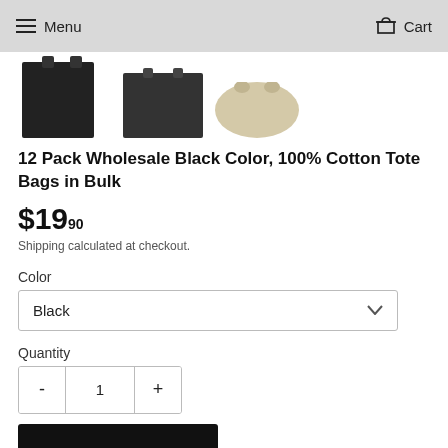Menu   Cart
[Figure (photo): Partial view of three tote bag product images: a black tote bag on the left, a black tote bag in the center, and a natural/beige tote bag on the right. Images are cropped at the top.]
12 Pack Wholesale Black Color, 100% Cotton Tote Bags in Bulk
$19.90
Shipping calculated at checkout.
Color
Black
Quantity
1